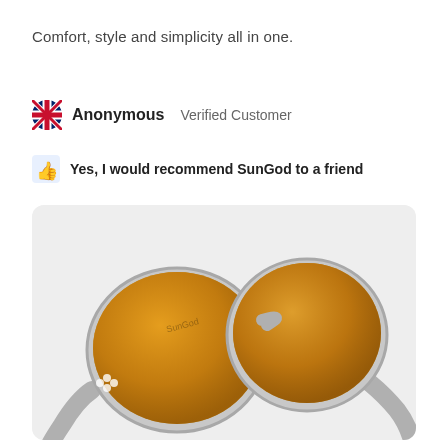Comfort, style and simplicity all in one.
Anonymous   Verified Customer
Yes, I would recommend SunGod to a friend
[Figure (photo): Photo of SunGod sunglasses with white/grey frames and amber/gold mirrored lenses, viewed from a slight overhead angle against a light grey background]